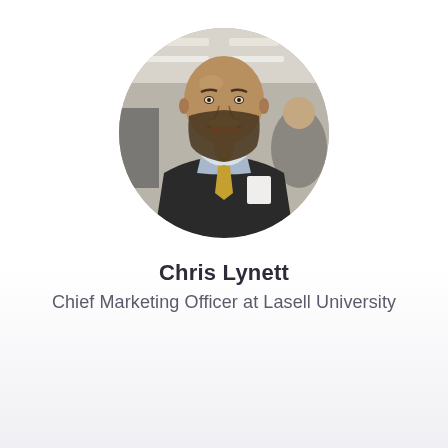[Figure (photo): Circular profile photo of a bald man with a beard wearing a dark suit jacket, light blue dress shirt, and gold/yellow patterned tie. He is smiling. Background shows an indoor venue with overhead lighting.]
Chris Lynett
Chief Marketing Officer at Lasell University